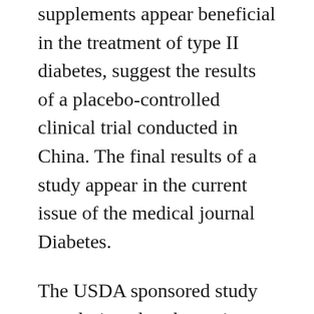supplements appear beneficial in the treatment of type II diabetes, suggest the results of a placebo-controlled clinical trial conducted in China. The final results of a study appear in the current issue of the medical journal Diabetes.
The USDA sponsored study was designed to determine whether supplemental chromium could help in the control of type II (non-insulin dependent) diabetes. One-hundred and eighty men and women in China who were already being treated for type II diabetes received either placebo, 100 mcg (micrograms) of chromium two times per day, or 500 mcg of chromium two times per day. The volunteers continued to take their normal medications and were asked not to change their normal eating and living habits.